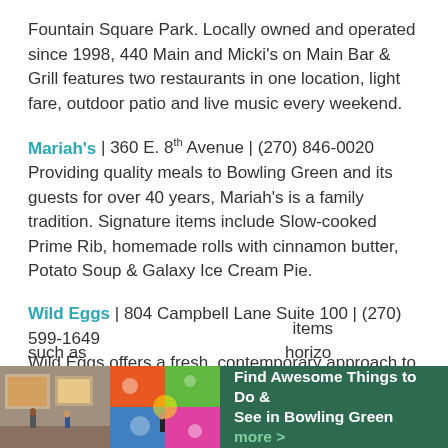Fountain Square Park. Locally owned and operated since 1998, 440 Main and Micki's on Main Bar & Grill features two restaurants in one location, light fare, outdoor patio and live music every weekend.
Mariah's | 360 E. 8th Avenue | (270) 846-0020
Providing quality meals to Bowling Green and its guests for over 40 years, Mariah's is a family tradition. Signature items include Slow-cooked Prime Rib, homemade rolls with cinnamon butter, Potato Soup & Galaxy Ice Cream Pie.
Wild Eggs | 804 Campbell Lane Suite 100 | (270) 599-1649
Wild Eggs offers a fresh, contemporary approach to traditional breakfast and brunch, offering items such as ... chorizo
[Figure (photo): Banner overlay at bottom of page showing two photos of art gallery on the left, and a green promotional banner on the right reading 'Find Awesome Things to Do & See in Bowling Green more >']